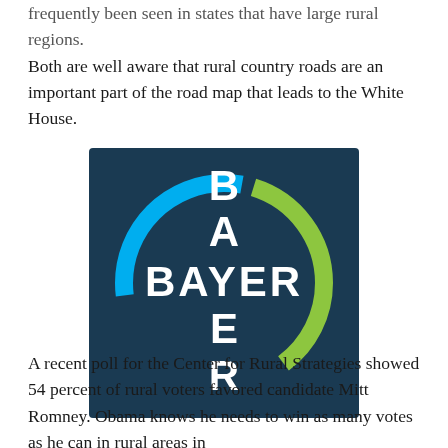frequently been seen in states that have large rural regions. Both are well aware that rural country roads are an important part of the road map that leads to the White House.
[Figure (logo): Bayer corporate logo: dark navy blue square background with a circle formed by a green arc (top-left) and a blue arc (bottom-right), and a white cross shape spelling 'BAYER' horizontally and 'B A Y E R' vertically in bold white letters.]
A recent poll for the Center for Rural Strategies showed 54 percent of rural voters favored candidate Mitt Romney. Obama knows he needs to win as many votes as he can in rural areas in